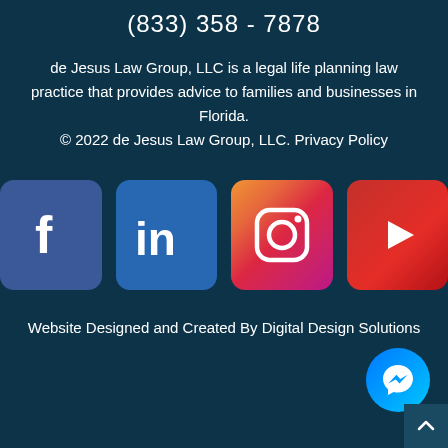(833) 358 - 7878
de Jesus Law Group, LLC is a legal life planning law practice that provides advice to families and businesses in Florida. © 2022 de Jesus Law Group, LLC. Privacy Policy
[Figure (logo): Row of four social media icons: Facebook (blue), LinkedIn (blue), Instagram (pink/purple gradient), YouTube (red)]
Website Designed and Created By Digital Design Solutions